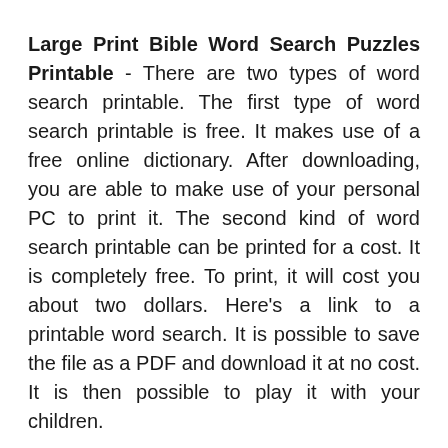Large Print Bible Word Search Puzzles Printable - There are two types of word search printable. The first type of word search printable is free. It makes use of a free online dictionary. After downloading, you are able to make use of your personal PC to print it. The second kind of word search printable can be printed for a cost. It is completely free. To print, it will cost you about two dollars. Here's a link to a printable word search. It is possible to save the file as a PDF and download it at no cost. It is then possible to play it with your children.